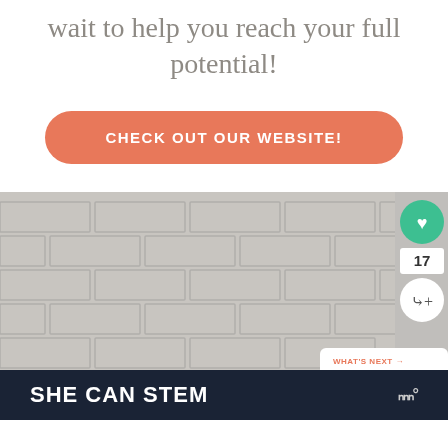wait to help you reach your full potential!
CHECK OUT OUR WEBSITE!
[Figure (photo): A person with dark hair seen from above against a tiled/brick wall background, with UI overlay elements including a heart button, like count of 17, and share button]
WHAT'S NEXT → Blog
SHE CAN STEM